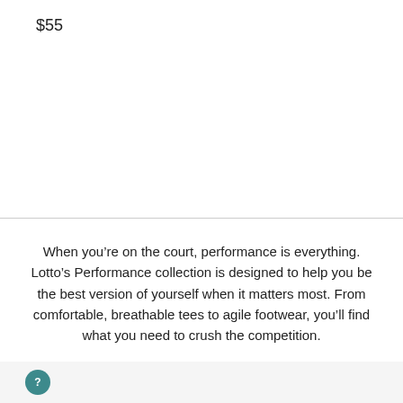$55
When you’re on the court, performance is everything. Lotto’s Performance collection is designed to help you be the best version of yourself when it matters most. From comfortable, breathable tees to agile footwear, you’ll find what you need to crush the competition.
[Figure (other): Help/chat button icon (circle with question mark)]